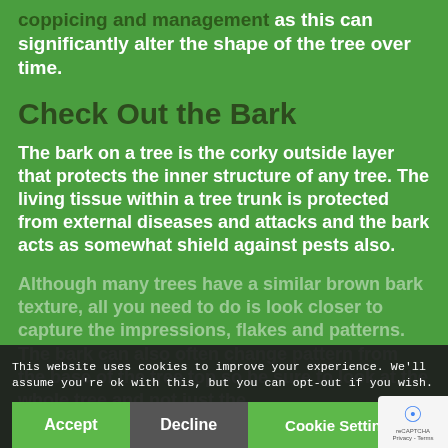coppicing and management as this can significantly alter the shape of the tree over time.
Check Out the Bark
The bark on a tree is the corky outside layer that protects the inner structure of any tree. The living tissue within a tree trunk is protected from external diseases and attacks and the bark acts as somewhat shield against pests also.
Although many trees have a similar brown bark texture, all you need to do is look closer to capture the impressions, flakes and patterns. The bark can also often change pattern from the base of the tree top so be sure to look at the whole tree and not just the
This website uses cookies to improve your experience. We'll assume you're ok with this, but you can opt-out if you wish.
Accept   Decline   Cookie Settings